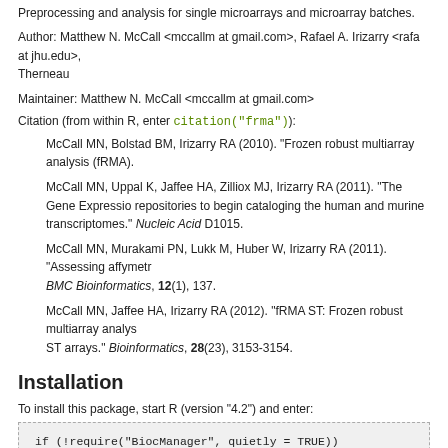Preprocessing and analysis for single microarrays and microarray batches.
Author: Matthew N. McCall <mccallm at gmail.com>, Rafael A. Irizarry <rafa at jhu.edu>, Therneau
Maintainer: Matthew N. McCall <mccallm at gmail.com>
Citation (from within R, enter citation("frma")):
McCall MN, Bolstad BM, Irizarry RA (2010). "Frozen robust multiarray analysis (fRMA)."
McCall MN, Uppal K, Jaffee HA, Zilliox MJ, Irizarry RA (2011). "The Gene Expression repositories to begin cataloging the human and murine transcriptomes." Nucleic Acids D1015.
McCall MN, Murakami PN, Lukk M, Huber W, Irizarry RA (2011). "Assessing affymetr..." BMC Bioinformatics, 12(1), 137.
McCall MN, Jaffee HA, Irizarry RA (2012). "fRMA ST: Frozen robust multiarray analysis... ST arrays." Bioinformatics, 28(23), 3153-3154.
Installation
To install this package, start R (version "4.2") and enter:
if (!require("BiocManager", quietly = TRUE))
    install.packages("BiocManager")

# The following initializes usage of Bioc devel
BiocManager::install(version='devel')

BiocManager::install("frma")